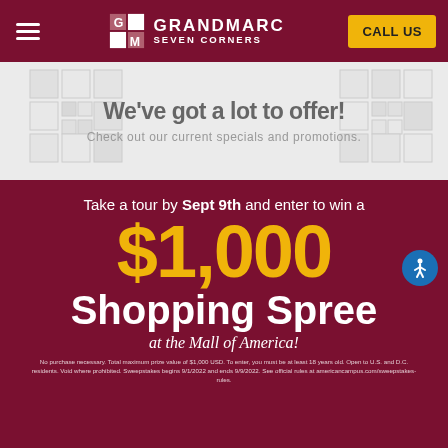GRANDMARC SEVEN CORNERS — CALL US
We've got a lot to offer!
Check out our current specials and promotions.
[Figure (infographic): Promotional banner on dark red background: 'Take a tour by Sept 9th and enter to win a $1,000 Shopping Spree at the Mall of America!' with fine print about sweepstakes rules.]